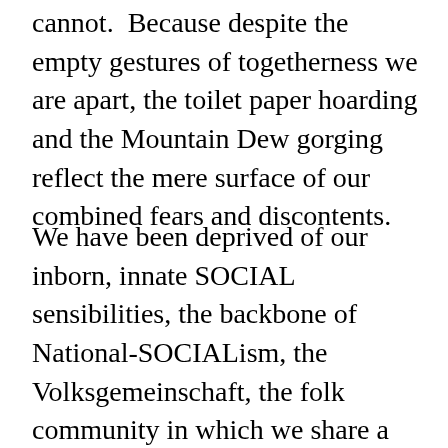cannot.  Because despite the empty gestures of togetherness we are apart, the toilet paper hoarding and the Mountain Dew gorging reflect the mere surface of our combined fears and discontents.
We have been deprived of our inborn, innate SOCIAL sensibilities, the backbone of National-SOCIALism, the Volksgemeinschaft, the folk community in which we share a common racial heritage of many facets but one undeniable achievement: the greatest civilizations on Earth.  The seat of all great culture has been Europe, and that is being